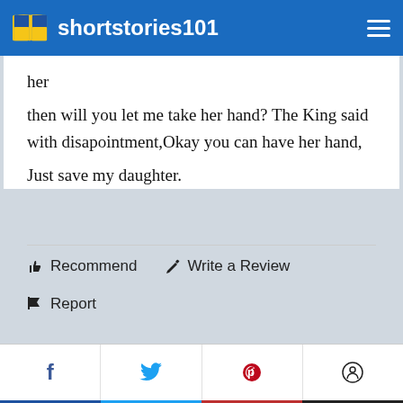shortstories101
her
then will you let me take her hand? The King said with disapointment,Okay you can have her hand,
Just save my daughter.
👍 Recommend   ✏ Write a Review
📢 Report
[Figure (other): Social share buttons: Facebook (f), Twitter bird, Pinterest (p), Reddit circle icon]
About The Author